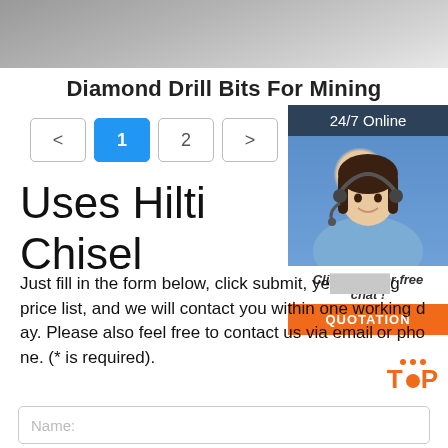[Figure (photo): Top portion of a photo showing a close-up of drill bits or mining equipment on a grey surface]
Diamond Drill Bits For Mining
[Figure (infographic): Pagination bar with buttons: < 1 2 >]
[Figure (photo): 24/7 Online customer service widget showing a woman with a headset, with text 'Click here for free chat!' and an orange QUOTATION button]
Uses Hilti Chisel
Just fill in the form below, click submit, you will get the price list, and we will contact you within one working day. Please also feel free to contact us via email or phone. (* is required).
Name: